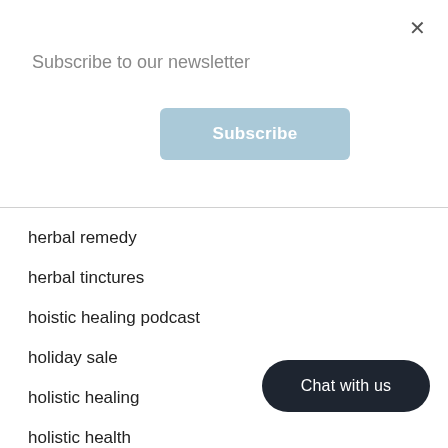×
Subscribe to our newsletter
Subscribe
herbal remedy
herbal tinctures
hoistic healing podcast
holiday sale
holistic healing
holistic health
immune support
immunity boost
immunity products
immunity tonic
Chat with us